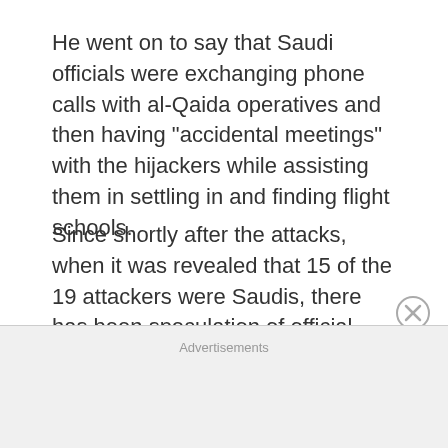He went on to say that Saudi officials were exchanging phone calls with al-Qaida operatives and then having “accidental meetings” with the hijackers while assisting them in settling in and finding flight schools.
Since shortly after the attacks, when it was revealed that 15 of the 19 attackers were Saudis, there has been speculation of official involvement. Osama bin Laden, the al-Qaida leader at the time, was born into a prominent Saudi family.
According to declassified documents, the US
Advertisements